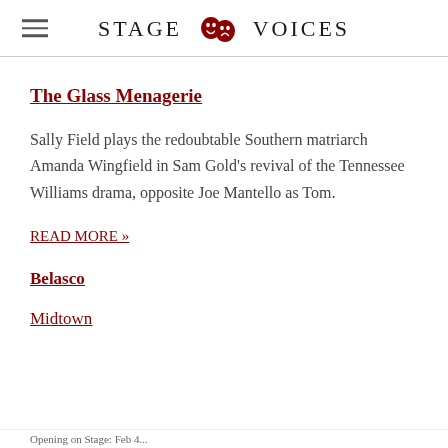STAGE VOICES
The Glass Menagerie
Sally Field plays the redoubtable Southern matriarch Amanda Wingfield in Sam Gold's revival of the Tennessee Williams drama, opposite Joe Mantello as Tom.
READ MORE »
Belasco
Midtown